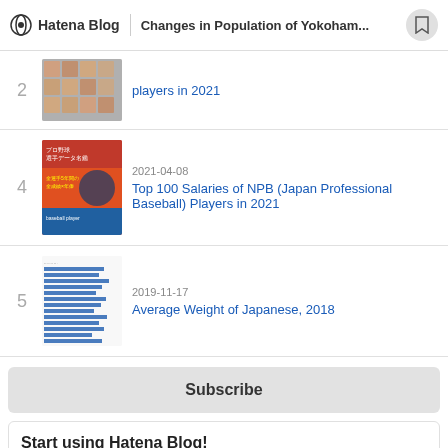Hatena Blog | Changes in Population of Yokoham...
players in 2021
2021-04-08
Top 100 Salaries of NPB (Japan Professional Baseball) Players in 2021
2019-11-17
Average Weight of Japanese, 2018
Subscribe
Start using Hatena Blog!
nbakki is using Hatena Blog. Would you like to try it too?